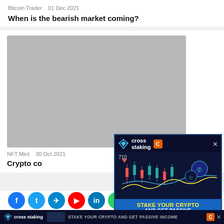Bitcoin Trader   01 Dec 2021
When is the bearish market coming?
[Figure (photo): Large grey placeholder image for article]
NFT Mint   30 Oct 2021
Crypto co...
[Figure (infographic): Cross Staking advertisement overlay: shows candlestick chart with value 710, crypto coins, text STAKE YOUR CRYPTO AND GET PASSIVE INCOME DAILY]
cross staking   STAKE YOUR CRYPTO AND GET PASSIVE INCOME